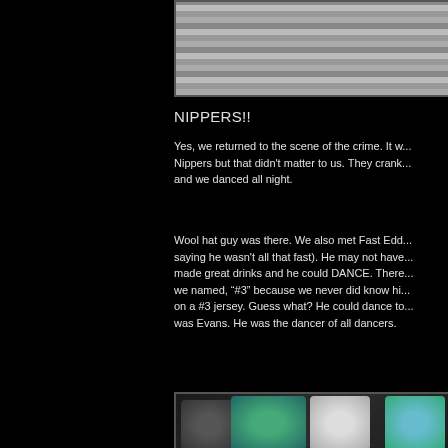[Figure (photo): Top photo showing wooden deck/boardwalk planks in grey tones]
NIPPERS!!
Yes, we returned to the scene of the crime. It w... Nippers but that didn't matter to us. They crank... and we danced all night.
Wool hat guy was there. We also met Fast Edd... saying he wasn't all that fast). He may not have... made great drinks and he could DANCE. There... we named, "#3" because we never did know hi... on a #3 jersey. Guess what? He could dance to... was Evans. He was the dancer of all dancers.
[Figure (photo): Photo of people dancing at Nippers bar, figures in teal/green and white clothing]